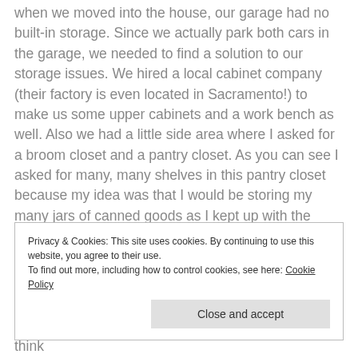When we moved into the house, our garage had no built-in storage. Since we actually park both cars in the garage, we needed to find a solution to our storage issues. We hired a local cabinet company (their factory is even located in Sacramento!) to make us some upper cabinets and a work bench as well. Also we had a little side area where I asked for a broom closet and a pantry closet. As you can see I asked for many, many shelves in this pantry closet because my idea was that I would be storing my many jars of canned goods as I kept up with the fruits of the garden. The shelves are moveable so I can move them to fit different size jars.
Privacy & Cookies: This site uses cookies. By continuing to use this website, you agree to their use.
To find out more, including how to control cookies, see here: Cookie Policy
Close and accept
stack your jars on top of each other. This made me think